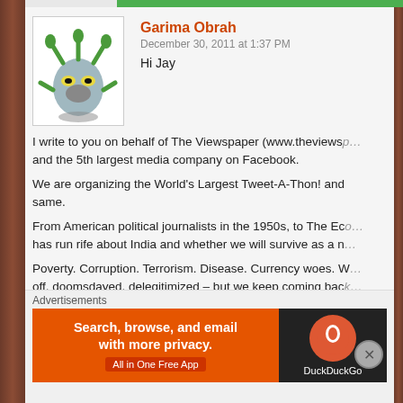Garima Obrah
December 30, 2011 at 1:37 PM
Hi Jay
I write to you on behalf of The Viewspaper (www.theviewsp... and the 5th largest media company on Facebook.
We are organizing the World's Largest Tweet-A-Thon! and same.
From American political journalists in the 1950s, to The Ec... has run rife about India and whether we will survive as a n...
Poverty. Corruption. Terrorism. Disease. Currency woes. W... off, doomsdayed, delegitimized – but we keep coming bac... this solid resilience?
It is our nation's optimism. No matter how much you bring
A first of its kind initiative, the #IFeelUp Tweetathon is a 3-... irrepressible state of the nation, in spite of its laundry list o... panelists for non-stop discussion, and that's where yo...
Advertisements
[Figure (screenshot): DuckDuckGo advertisement banner: 'Search, browse, and email with more privacy. All in One Free App' with DuckDuckGo logo on dark background]